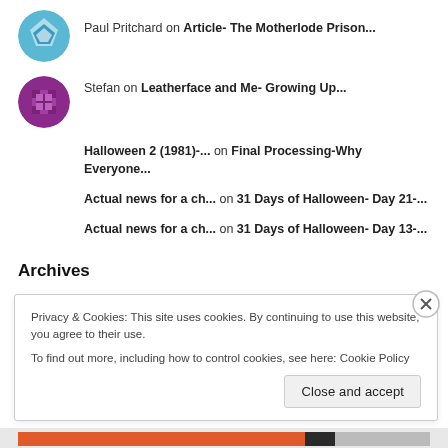Paul Pritchard on Article- The Motherlode Prison...
Stefan on Leatherface and Me- Growing Up...
Halloween 2 (1981)-... on Final Processing-Why Everyone...
Actual news for a ch... on 31 Days of Halloween- Day 21-...
Actual news for a ch... on 31 Days of Halloween- Day 13-...
Archives
Privacy & Cookies: This site uses cookies. By continuing to use this website, you agree to their use.
To find out more, including how to control cookies, see here: Cookie Policy
Close and accept